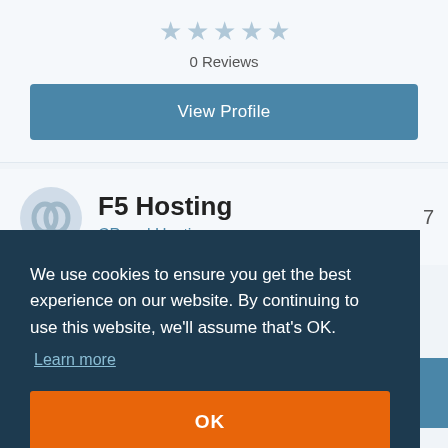0 Reviews
View Profile
F5 Hosting
CPanel Hosting
We use cookies to ensure you get the best experience on our website. By continuing to use this website, we'll assume that's OK.
Learn more
OK